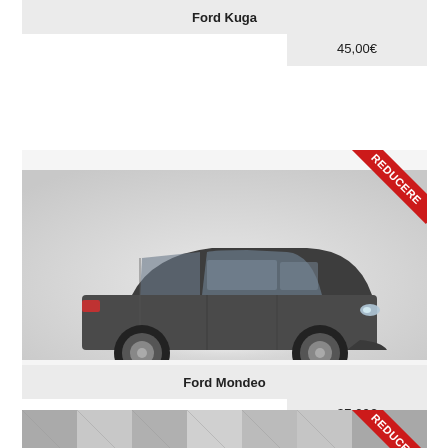| Ford Kuga |  |
| --- | --- |
|  | 45,00€ |
[Figure (photo): Ford Mondeo station wagon car photo with REDUCERE ribbon badge in top right corner]
| Ford Mondeo |  |
| --- | --- |
|  | 37,00€ |
[Figure (photo): Partial third car listing with REDUCERE ribbon badge, bottom of page cut off]